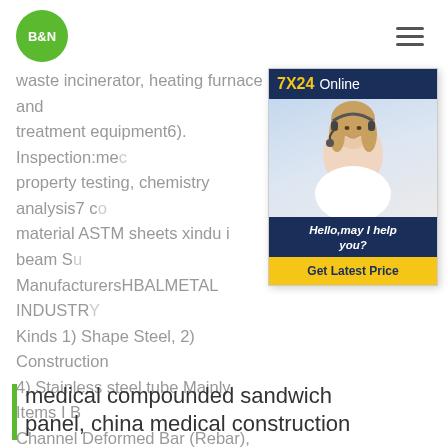B&N
waste incinerator, heating furnace and treatment equipment6). Inspection:mechanical property testing, chemistry analysis7 c... material ASTM sheets xindu i beam Su... ManufacturersHBALMETAL INDUSTRY... Kinds 1) Shape Steel, 2) Construction ... 4) Stainless steel tube Mainly Items I B... Channel Deformed Bar (Rebar), Seam... /tubes, Steel Tubes, galvanized tubes, round tubes or pipes, Flat steel, coils, plate, Energetic team Your satisfaction is the purpose of existence .
[Figure (other): Online chat widget with 7X24 Online header, photo of woman with headset, Hello may I help you? text and Get Latest Price button]
medical compounded sandwich panel, china medical construction